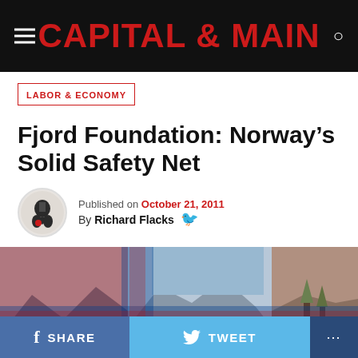CAPITAL & MAIN
LABOR & ECONOMY
Fjord Foundation: Norway’s Solid Safety Net
Published on October 21, 2011 By Richard Flacks
[Figure (photo): Composite photo of Norwegian fjord landscape overlaid with the Norwegian flag cross pattern (blue and red on white), showing mountains, blue sky, and countryside road.]
SHARE  TWEET